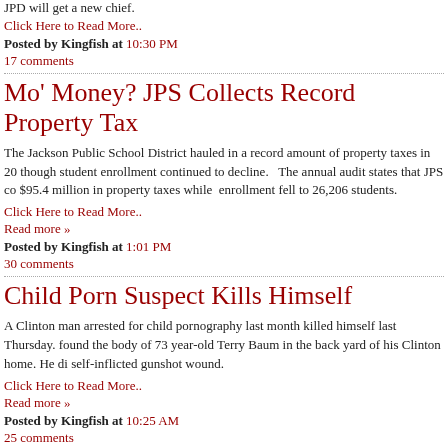JPD will get a new chief.
Click Here to Read More..
Posted by Kingfish at 10:30 PM
17 comments
Mo' Money? JPS Collects Record Property Tax
The Jackson Public School District hauled in a record amount of property taxes in 20 though student enrollment continued to decline. The annual audit states that JPS co $95.4 million in property taxes while enrollment fell to 26,206 students.
Click Here to Read More..
Read more »
Posted by Kingfish at 1:01 PM
30 comments
Child Porn Suspect Kills Himself
A Clinton man arrested for child pornography last month killed himself last Thursday. found the body of 73 year-old Terry Baum in the back yard of his Clinton home. He di self-inflicted gunshot wound.
Click Here to Read More..
Read more »
Posted by Kingfish at 10:25 AM
25 comments
Fiddlin' Away While the Zoo Burns?